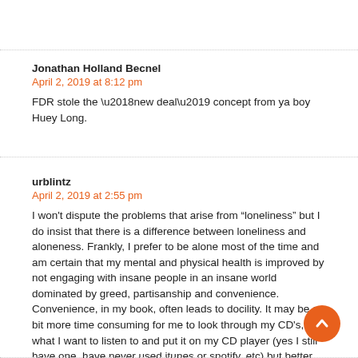Jonathan Holland Becnel
April 2, 2019 at 8:12 pm
FDR stole the ‘new deal’ concept from ya boy Huey Long.
urblintz
April 2, 2019 at 2:55 pm
I won't dispute the problems that arise from “loneliness” but I do insist that there is a difference between loneliness and aloneness. Frankly, I prefer to be alone most of the time and am certain that my mental and physical health is improved by not engaging with insane people in an insane world dominated by greed, partisanship and convenience. Convenience, in my book, often leads to docility. It may be a bit more time consuming for me to look through my CD's, find what I want to listen to and put it on my CD player (yes I still have one, have never used itunes or spotify, etc) but better that, imho, than “Alexi, play Van Morrison.” A trivial example, yes, but it makes my point.